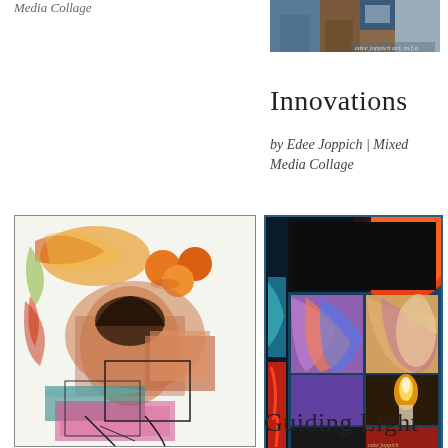Media Collage
[Figure (photo): Small rectangular artwork image at top right, colorful mixed media collage with a signature]
Innovations
by Edee Joppich | Mixed Media Collage
[Figure (photo): Large vertical mixed media collage artwork with oranges, abstract figures, colorful painted elements on white background with black border]
[Figure (photo): Vertical mixed media collage with dark blue border, featuring a large red semi-circle/sun at top, colorful painted panels, candle, and figurative elements]
Guiding Light